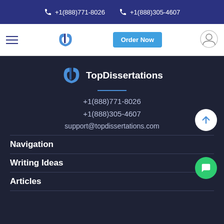+1(888)771-8026  +1(888)305-4607
[Figure (screenshot): Navigation bar with hamburger menu, TopDissertations logo, Order Now button, and user icon]
[Figure (logo): TopDissertations logo with stylized D icon]
+1(888)771-8026
+1(888)305-4607
support@topdissertations.com
Navigation
Writing Ideas
Articles